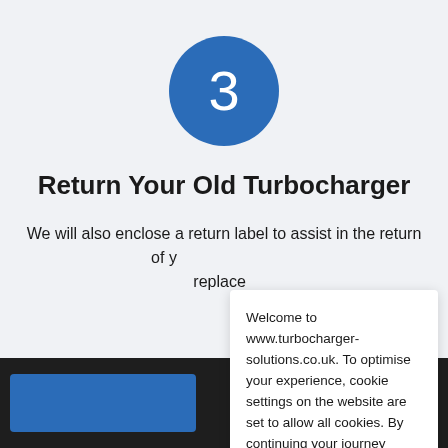[Figure (other): Blue circle with white number 3, representing step 3 in a process]
Return Your Old Turbocharger
We will also enclose a return label to assist in the return of y... replace...
Welcome to www.turbocharger-solutions.co.uk. To optimise your experience, cookie settings on the website are set to allow all cookies. By continuing your journey throughout the website, you consent to this.
Learn more
Accept all cookies